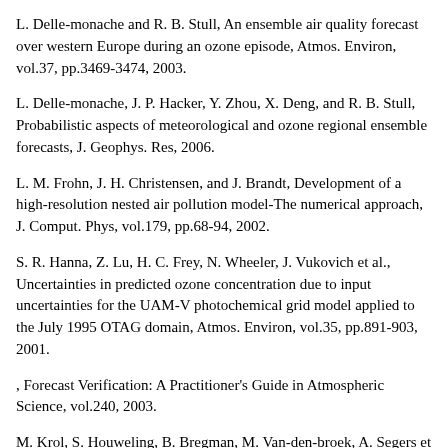L. Delle-monache and R. B. Stull, An ensemble air quality forecast over western Europe during an ozone episode, Atmos. Environ, vol.37, pp.3469-3474, 2003.
L. Delle-monache, J. P. Hacker, Y. Zhou, X. Deng, and R. B. Stull, Probabilistic aspects of meteorological and ozone regional ensemble forecasts, J. Geophys. Res, 2006.
L. M. Frohn, J. H. Christensen, and J. Brandt, Development of a high-resolution nested air pollution model-The numerical approach, J. Comput. Phys, vol.179, pp.68-94, 2002.
S. R. Hanna, Z. Lu, H. C. Frey, N. Wheeler, J. Vukovich et al., Uncertainties in predicted ozone concentration due to input uncertainties for the UAM-V photochemical grid model applied to the July 1995 OTAG domain, Atmos. Environ, vol.35, pp.891-903, 2001.
, Forecast Verification: A Practitioner's Guide in Atmospheric Science, vol.240, 2003.
M. Krol, S. Houweling, B. Bregman, M. Van-den-broek, A. Segers et al., The twoway nested global chemistry-transport zoom model TM5: Algorithm and applications, Atmos. Chem. Phys, vol.5, pp.417-432, 2005.